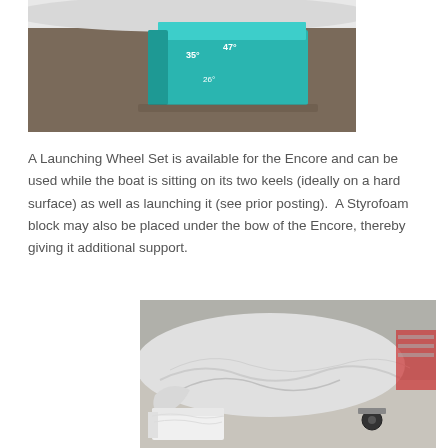[Figure (photo): Photo of a teal/turquoise rectangular foam block or container sitting on a concrete floor, with measurement annotations showing '35', '28', and '47' marked on it. A white surface is partially visible at the top.]
A Launching Wheel Set is available for the Encore and can be used while the boat is sitting on its two keels (ideally on a hard surface) as well as launching it (see prior posting).  A Styrofoam block may also be placed under the bow of the Encore, thereby giving it additional support.
[Figure (photo): Photo of a boat wrapped in white plastic/shrink wrap, sitting on a concrete floor with a white Styrofoam block visible under the bow. A small wheel/dolly is visible near the stern. Red equipment and shelving are partially visible in the background.]